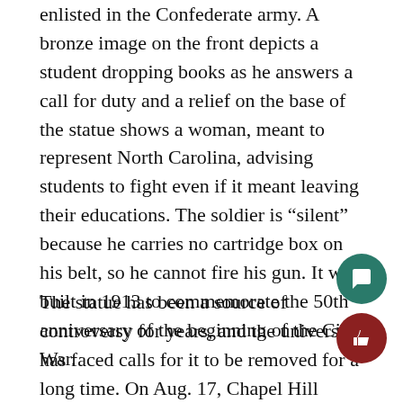enlisted in the Confederate army. A bronze image on the front depicts a student dropping books as he answers a call for duty and a relief on the base of the statue shows a woman, meant to represent North Carolina, advising students to fight even if it meant leaving their educations. The soldier is “silent” because he carries no cartridge box on his belt, so he cannot fire his gun. It was built in 1913 to commemorate the 50th anniversary of the beginning of the Civil War.
The statue has been a source of controversy for years, and the university has faced calls for it to be removed for a long time. On Aug. 17, Chapel Hill mayor Pat Hemminger asked UNC to remove it, citing that it “presents a clear and present danger to the students on campus and the community at large.” On the first day of classes at UNC, hundreds of protesters gathered around the statue, which was